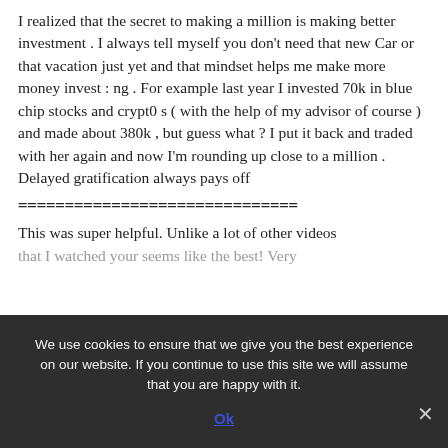I realized that the secret to making a million is making better investment . I always tell myself you don't need that new Car or that vacation just yet and that mindset helps me make more money invest : ng . For example last year I invested 70k in blue chip stocks and crypt0 s ( with the help of my advisor of course ) and made about 380k , but guess what ? I put it back and traded with her again and now I'm rounding up close to a million . Delayed gratification always pays off
==============================
This was super helpful. Unlike a lot of other videos that I watched your seems like the best! Very
We use cookies to ensure that we give you the best experience on our website. If you continue to use this site we will assume that you are happy with it.
Ok